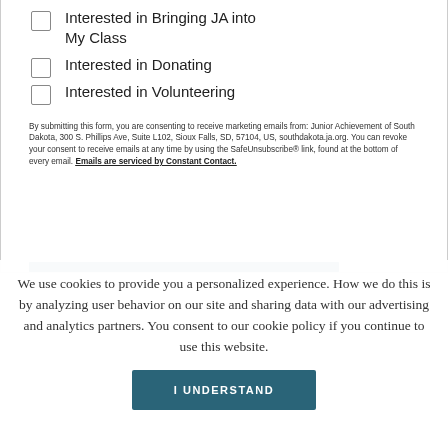Interested in Bringing JA into My Class
Interested in Donating
Interested in Volunteering
By submitting this form, you are consenting to receive marketing emails from: Junior Achievement of South Dakota, 300 S. Phillips Ave, Suite L102, Sioux Falls, SD, 57104, US, southdakota.ja.org. You can revoke your consent to receive emails at any time by using the SafeUnsubscribe® link, found at the bottom of every email. Emails are serviced by Constant Contact.
We use cookies to provide you a personalized experience. How we do this is by analyzing user behavior on our site and sharing data with our advertising and analytics partners. You consent to our cookie policy if you continue to use this website.
I UNDERSTAND